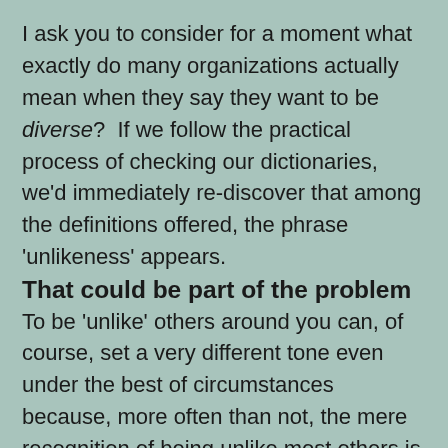I ask you to consider for a moment what exactly do many organizations actually mean when they say they want to be diverse?  If we follow the practical process of checking our dictionaries, we'd immediately re-discover that among the definitions offered, the phrase 'unlikeness' appears.
That could be part of the problem
To be 'unlike' others around you can, of course, set a very different tone even under the best of circumstances because, more often than not, the mere recognition of being unlike most others is that you're less a part of them—